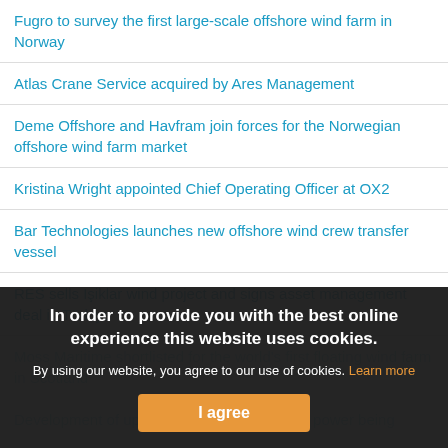Fugro to survey the first large-scale offshore wind farm in Norway
Atlas Crane Service acquired by Ares Management
Deme Offshore and Havfram join forces for the Norwegian offshore wind farm market
Kristina Wright appointed Chief Operating Officer at OX2
Bar Technologies launches new offshore wind crew transfer vessel
RES sells Işiklar wind project and signs asset management deal in Türkiye
Moss Maritime shortlisted for the world’s first floating wind farm in Scotland
Development of up to 3 GW of offshore wind power being
In order to provide you with the best online experience this website uses cookies.
By using our website, you agree to our use of cookies. Learn more
I agree